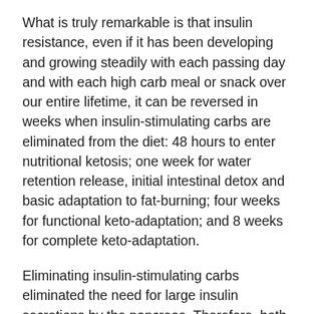What is truly remarkable is that insulin resistance, even if it has been developing and growing steadily with each passing day and with each high carb meal or snack over our entire lifetime, it can be reversed in weeks when insulin-stimulating carbs are eliminated from the diet: 48 hours to enter nutritional ketosis; one week for water retention release, initial intestinal detox and basic adaptation to fat-burning; four weeks for functional keto-adaptation; and 8 weeks for complete keto-adaptation.
Eliminating insulin-stimulating carbs eliminated the need for large insulin secretions by the pancreas. Therefore, both glucose and insulin concentrations steadily decrease with time, and eventually fat-burning and ketone production kicks in, marking the first step in the transition of the metabolism from sugar-burning to fat-burning, which